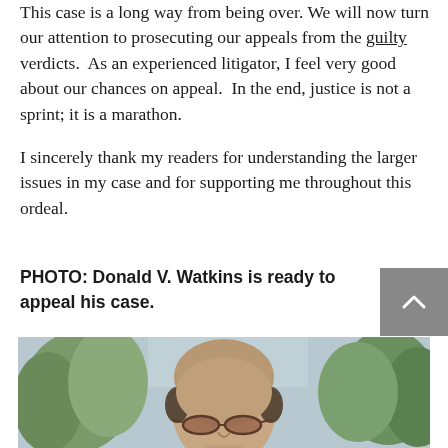This case is a long way from being over. We will now turn our attention to prosecuting our appeals from the guilty verdicts. As an experienced litigator, I feel very good about our chances on appeal. In the end, justice is not a sprint; it is a marathon.

I sincerely thank my readers for understanding the larger issues in my case and for supporting me throughout this ordeal.
PHOTO: Donald V. Watkins is ready to appeal his case.
[Figure (photo): Photograph of Donald V. Watkins, a man with a shaved head wearing glasses, outdoors with trees in the background.]